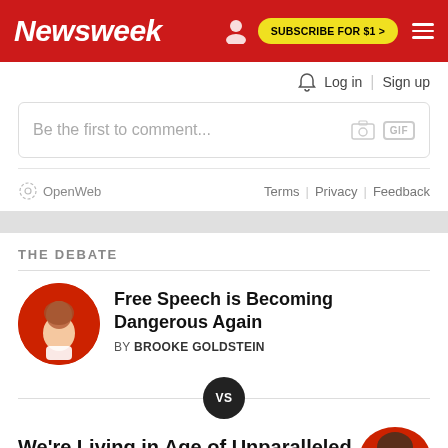Newsweek | SUBSCRIBE FOR $1 >
Log in | Sign up
Be the first to comment...
OpenWeb   Terms | Privacy | Feedback
THE DEBATE
Free Speech is Becoming Dangerous Again
BY BROOKE GOLDSTEIN
VS
We're Living in Age of Unparalleled Free Speech